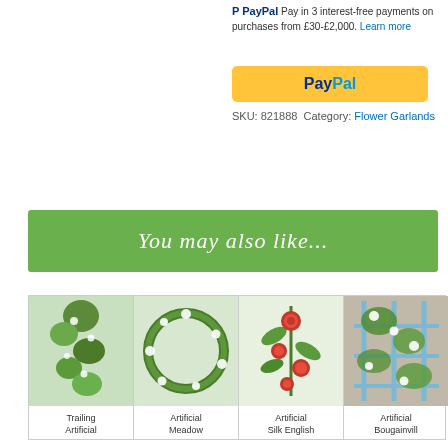PayPal Pay in 3 interest-free payments on purchases from £30-£2,000. Learn more
[Figure (other): PayPal checkout button (yellow)]
SKU: 821888 Category: Flower Garlands
You may also like...
[Figure (photo): Trailing Artificial flower garland with white and green leaves]
[Figure (photo): Artificial Meadow flower garland with white flowers and green leaves]
[Figure (photo): Artificial Silk English rose garland with red roses]
[Figure (photo): Artificial Bougainvillea garland with white flowers on trellis]
Trailing Artificial
Artificial Meadow
Artificial Silk English
Artificial Bougainvill